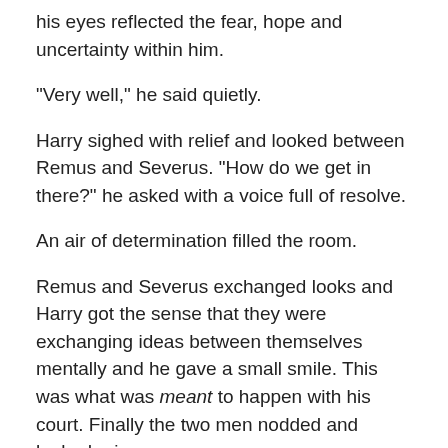his eyes reflected the fear, hope and uncertainty within him.
"Very well," he said quietly.
Harry sighed with relief and looked between Remus and Severus. "How do we get in there?" he asked with a voice full of resolve.
An air of determination filled the room.
Remus and Severus exchanged looks and Harry got the sense that they were exchanging ideas between themselves mentally and he gave a small smile. This was what was meant to happen with his court. Finally the two men nodded and looked grim.
Remus looked at Harry and took a deep breath. "Dumbledore," he said. "Harry, he's the only one who could get us in there without too many questions being asked,